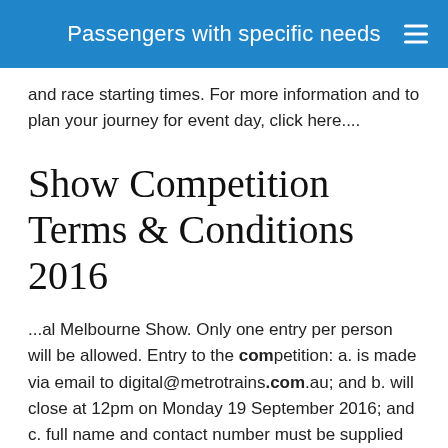Passengers with specific needs
and race starting times. For more information and to plan your journey for event day, click here....
Show Competition Terms & Conditions 2016
...al Melbourne Show. Only one entry per person will be allowed. Entry to the competition: a. is made via email to digital@metrotrains.com.au; and b. will close at 12pm on Monday 19 September 2016; and c. full name and contact number must be supplied in order for entry to be valid. Winners will be notified by reply email. Tickets are to be picked up by winners at Info Central Flinders Street Station from Tuesday 20 September with proof of identity. E...